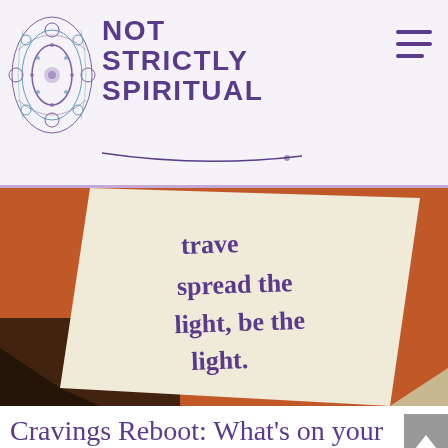NOT STRICTLY SPIRITUAL
[Figure (photo): Close-up photo of a paper/card with text reading 'travel... spread the light, be the light.' on a warm red/orange background]
Cravings Reboot: What's on your plate in 2018?
January 2, 2018 | Cravings
Bring on another new year. We are not afraid. Or are we? So often, we enter the new year disappointed by